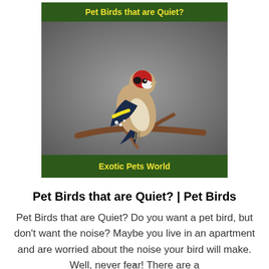[Figure (photo): A goldfinch bird perched on a branch against a grey background, with a dark green header banner reading 'Pet Birds that are Quiet?' in yellow text at the top, and a dark green footer banner reading 'Exotic Pets World' in yellow text at the bottom.]
Pet Birds that are Quiet? | Pet Birds
Pet Birds that are Quiet? Do you want a pet bird, but don't want the noise? Maybe you live in an apartment and are worried about the noise your bird will make. Well, never fear! There are a